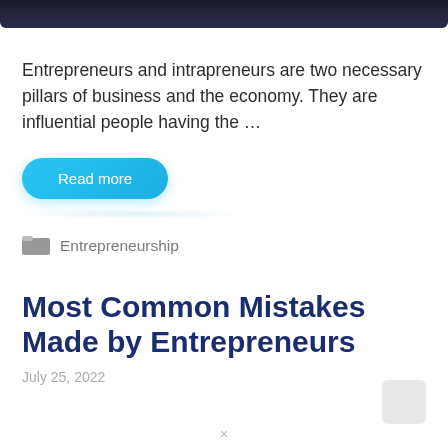[Figure (screenshot): Top strip of a dark laptop/device image, cropped at top of page]
Entrepreneurs and intrapreneurs are two necessary pillars of business and the economy. They are influential people having the …
Read more
Entrepreneurship
Most Common Mistakes Made by Entrepreneurs
July 25, 2022